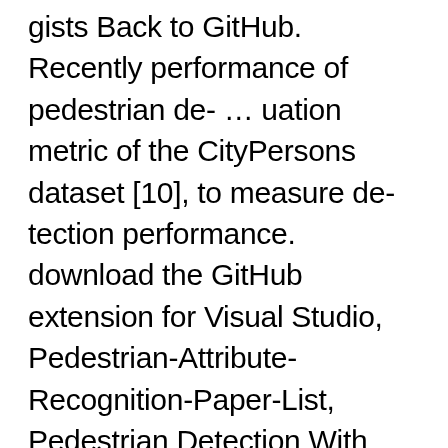gists Back to GitHub. Recently performance of pedestrian de- … uation metric of the CityPersons dataset [10], to measure de-tection performance. download the GitHub extension for Visual Studio, Pedestrian-Attribute-Recognition-Paper-List, Pedestrian Detection With Autoregressive Network Phases, High-Level Semantic Feature Detection: A New Perspective for Pedestrian Detection, Adaptive NMS: Refining Pedestrian Detection in a Crowd, Occlusion-aware R-CNN:Detecting Pedestrians in a Crowd, Bi-box Regression for Pedestrian Detection and Occlusion Estimation, Graininess-Aware Deep Feature Learning for Pedestrian Detection, Small-scale Pedestrian Detection Based on Topological Line Localization and Temporal Feature Aggregation, Learning Efficient Single-stage Pedestrian Detectors by Asymptotic Localization Fitting, Improving